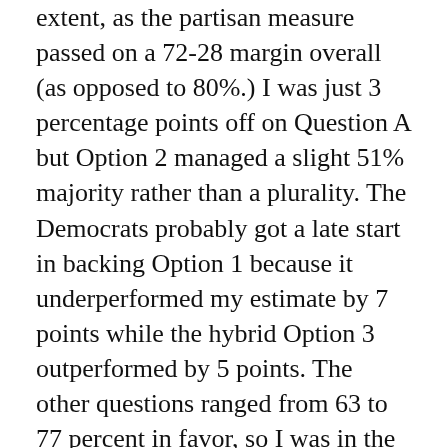extent, as the partisan measure passed on a 72-28 margin overall (as opposed to 80%.) I was just 3 percentage points off on Question A but Option 2 managed a slight 51% majority rather than a plurality. The Democrats probably got a late start in backing Option 1 because it underperformed my estimate by 7 points while the hybrid Option 3 outperformed by 5 points. The other questions ranged from 63 to 77 percent in favor, so I was in the ballpark. Maybe my public opposition brought them down 2 to 3 percent each.
Andy Harris will be returned to Congress, but not by as much as previous years. He will get 60.7% of the vote both overall and in Wicomico County, but Joe Werner's 35.9% of the vote districtwide will